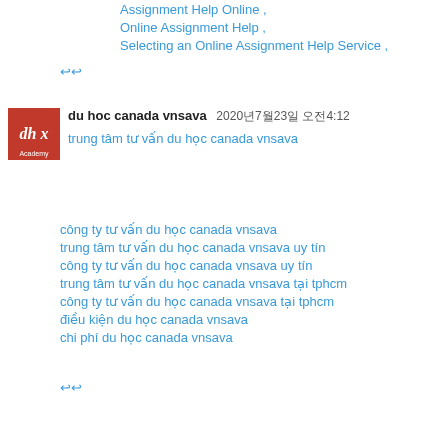Assignment Help Online ,
Online Assignment Help ,
Selecting an Online Assignment Help Service ,
↩↩
du hoc canada vnsava  2020년7월23일  오전4:12
trung tâm tư vấn du học canada vnsava
công ty tư vấn du học canada vnsava
trung tâm tư vấn du học canada vnsava uy tín
công ty tư vấn du học canada vnsava uy tín
trung tâm tư vấn du học canada vnsava tại tphcm
công ty tư vấn du học canada vnsava tại tphcm
điều kiện du học canada vnsava
chi phí du học canada vnsava
↩↩